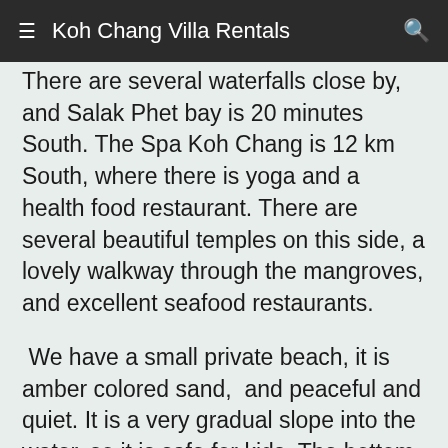≡  Koh Chang Villa Rentals  🔍
There are several waterfalls close by, and Salak Phet bay is 20 minutes South. The Spa Koh Chang is 12 km South, where there is yoga and a health food restaurant. There are several beautiful temples on this side, a lovely walkway through the mangroves, and excellent seafood restaurants.
We have a small private beach, it is amber colored sand,  and peaceful and quiet. It is a very gradual slope into the water, so it is safe for kids. The bottom is of sand, pebbles and small rocks.
Our visitors and home owners enjoy this